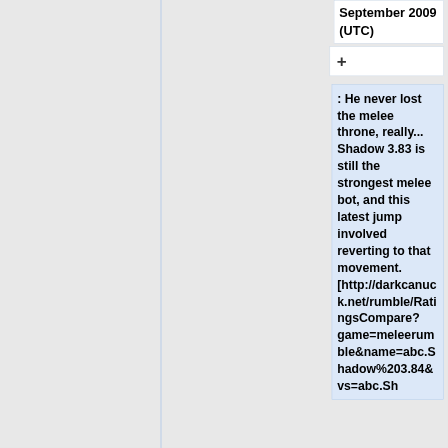September 2009 (UTC)
+
: He never lost the melee throne, really... Shadow 3.83 is still the strongest melee bot, and this latest jump involved reverting to that movement. [http://darkcanuck.net/rumble/RatingsCompare?game=meleerumble&name=abc.Shadow%203.84&vs=abc.Sh